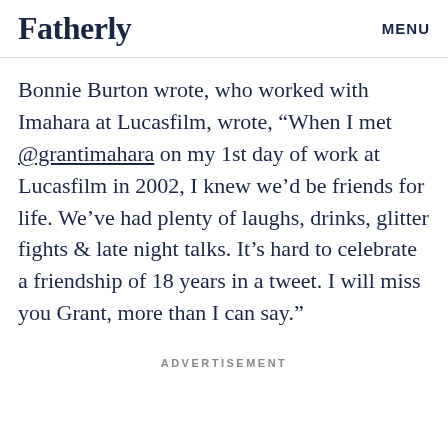Fatherly  MENU
Bonnie Burton wrote, who worked with Imahara at Lucasfilm, wrote, “When I met @grantimahara on my 1st day of work at Lucasfilm in 2002, I knew we’d be friends for life. We’ve had plenty of laughs, drinks, glitter fights & late night talks. It’s hard to celebrate a friendship of 18 years in a tweet. I will miss you Grant, more than I can say.”
ADVERTISEMENT